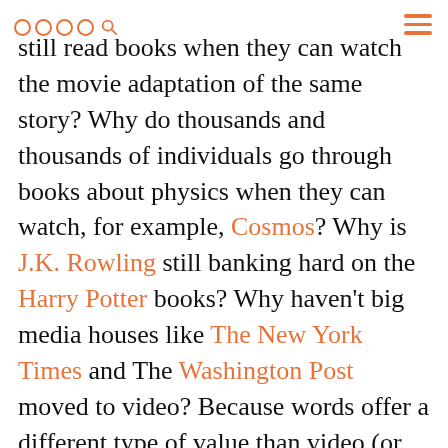navigation dots and menu icon
still read books when they can watch the movie adaptation of the same story? Why do thousands and thousands of individuals go through books about physics when they can watch, for example, Cosmos? Why is J.K. Rowling still banking hard on the Harry Potter books? Why haven't big media houses like The New York Times and The Washington Post moved to video? Because words offer a different type of value than video (or images).
The problem with video is that it instantly communicates many different things all at once. For an untrained eye, the whole process of learning through video can get a bit overwhelming. All sorts of factors come into play. Every little detail can steal your attention and destroy your focus. The